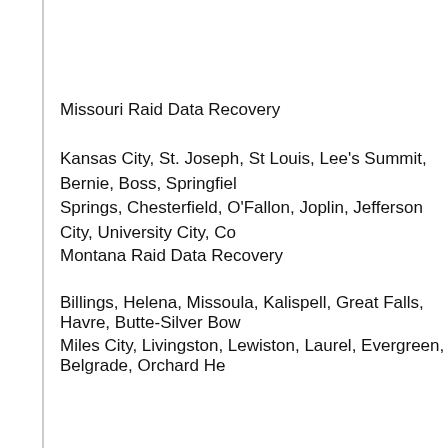Missouri Raid Data Recovery
Kansas City, St. Joseph, St Louis, Lee's Summit, Bernie, Boss, Springfield, Springs, Chesterfield, O'Fallon, Joplin, Jefferson City, University City, Co...
Montana Raid Data Recovery
Billings, Helena, Missoula, Kalispell, Great Falls, Havre, Butte-Silver Bow...
Miles City, Livingston, Lewiston, Laurel, Evergreen, Belgrade, Orchard He...
Nebraska Raid Data Recovery
Omaha, Fremont, Lincoln, Hastings, York, Friend, Inland, Royal, Bellevue, Norforlk, Papillion, Scottsbluff, Beatrice, South Sioux City, La VIsta, Chald...
Nevada Raid Data Recovery
Las Vegas, Carson City, Reno, Elko, Jean, Nixon, Henderson, Boulder, N...